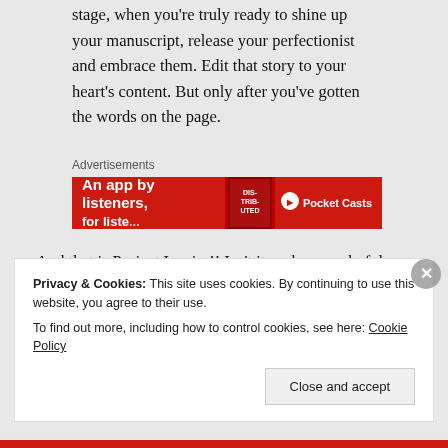stage, when you're truly ready to shine up your manuscript, release your perfectionist and embrace them. Edit that story to your heart's content. But only after you've gotten the words on the page.
[Figure (other): Advertisement banner: 'An app by listeners, for listeners' with Pocket Casts logo on red background, showing a book cover for 'Distributed']
And that is Project Inspire!! Isn't it such a wonderful project? Thank you so much, Jenna, for contacting me to
Privacy & Cookies: This site uses cookies. By continuing to use this website, you agree to their use.
To find out more, including how to control cookies, see here: Cookie Policy